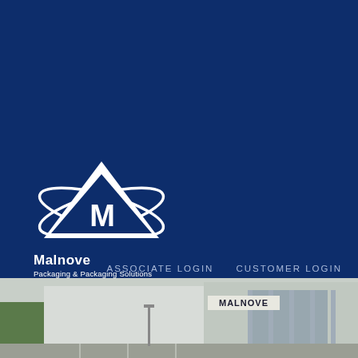[Figure (logo): Malnove logo - white triangle with M letter inside, orbital rings around it, with text 'Malnove' and 'Packaging & Packaging Solutions']
ASSOCIATE LOGIN
CUSTOMER LOGIN
SCHEDULE A CALL
[Figure (photo): Exterior photo of a large commercial/industrial building with 'MALNOVE' signage, featuring a modern facade with glass entrance and parking lot with trees]